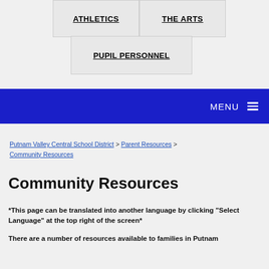[Figure (screenshot): Navigation menu showing ATHLETICS and THE ARTS tabs side by side, with PUPIL PERSONNEL tab below]
MENU ≡
Putnam Valley Central School District > Parent Resources > Community Resources
Community Resources
*This page can be translated into another language by clicking "Select Language" at the top right of the screen*
There are a number of resources available to families in Putnam